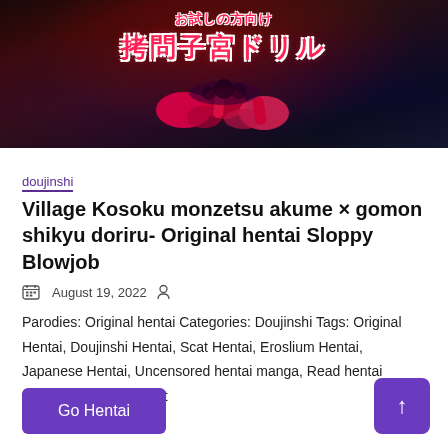[Figure (illustration): Banner/cover image with dark background showing Japanese text in stylized red/pink lettering with white outline: 拷問子宮ドリル, with animated/illustrated graphic elements]
doujinshi
Village Kosoku monzetsu akume × gomon shikyu doriru- Original hentai Sloppy Blowjob
August 19, 2022
Parodies: Original hentai Categories: Doujinshi Tags: Original Hentai, Doujinshi Hentai, Scat Hentai, Eroslium Hentai, Japanese Hentai, Uncensored hentai manga, Read hentai manga, Hentai gif, Best
Go Hentai